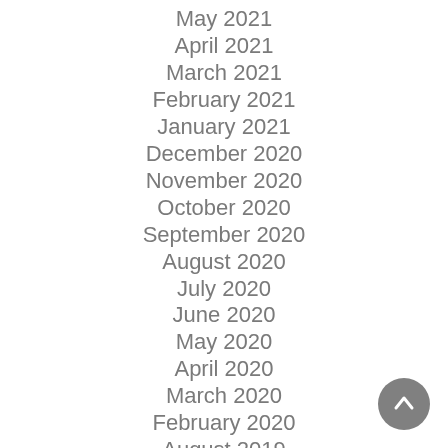May 2021
April 2021
March 2021
February 2021
January 2021
December 2020
November 2020
October 2020
September 2020
August 2020
July 2020
June 2020
May 2020
April 2020
March 2020
February 2020
August 2019